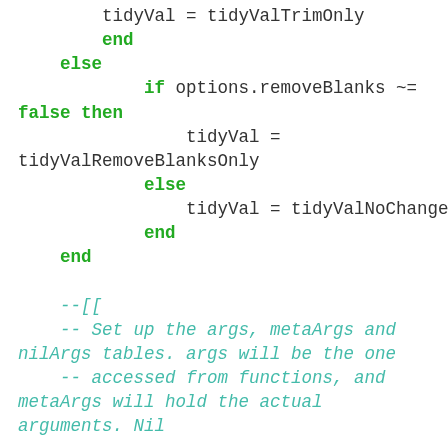Code snippet showing Lua conditional logic with tidyVal assignments and a multi-line comment block about setting up args, metaArgs and nilArgs tables.